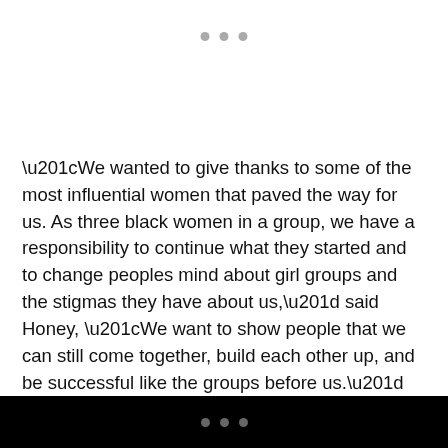“We wanted to give thanks to some of the most influential women that paved the way for us. As three black women in a group, we have a responsibility to continue what they started and to change peoples mind about girl groups and the stigmas they have about us,” said Honey, “We want to show people that we can still come together, build each other up, and be successful like the groups before us.”
Hennessey said, “It’s an honor to be able to pay homage to these iconic groups because they completely dominated